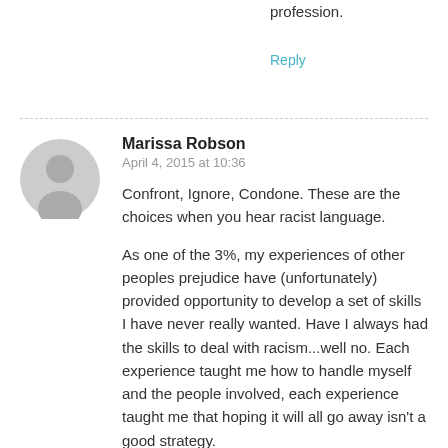profession.
Reply
Marissa Robson
April 4, 2015 at 10:36
Confront, Ignore, Condone. These are the choices when you hear racist language.
As one of the 3%, my experiences of other peoples prejudice have (unfortunately) provided opportunity to develop a set of skills I have never really wanted. Have I always had the skills to deal with racism...well no. Each experience taught me how to handle myself and the people involved, each experience taught me that hoping it will all go away isn't a good strategy.